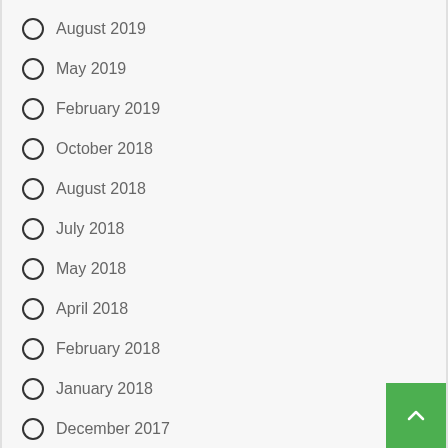August 2019
May 2019
February 2019
October 2018
August 2018
July 2018
May 2018
April 2018
February 2018
January 2018
December 2017